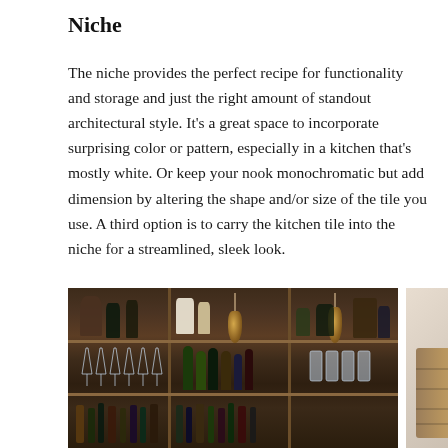Niche
The niche provides the perfect recipe for functionality and storage and just the right amount of standout architectural style. It’s a great space to incorporate surprising color or pattern, especially in a kitchen that’s mostly white. Or keep your nook monochromatic but add dimension by altering the shape and/or size of the tile you use. A third option is to carry the kitchen tile into the niche for a streamlined, sleek look.
[Figure (photo): A wooden bar niche with shelves holding bottles and glassware, with pendant lights hanging in front. A second partial photo shows a wood-paneled wall element on a light background.]